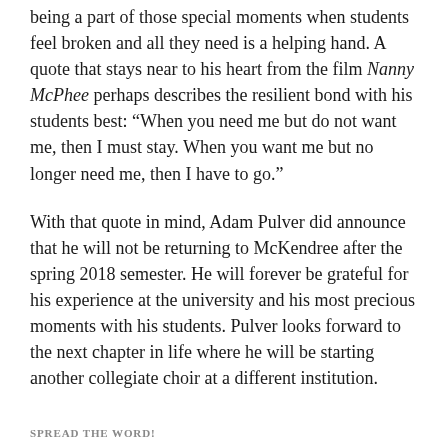being a part of those special moments when students feel broken and all they need is a helping hand. A quote that stays near to his heart from the film Nanny McPhee perhaps describes the resilient bond with his students best: “When you need me but do not want me, then I must stay. When you want me but no longer need me, then I have to go.”
With that quote in mind, Adam Pulver did announce that he will not be returning to McKendree after the spring 2018 semester. He will forever be grateful for his experience at the university and his most precious moments with his students. Pulver looks forward to the next chapter in life where he will be starting another collegiate choir at a different institution.
SPREAD THE WORD!